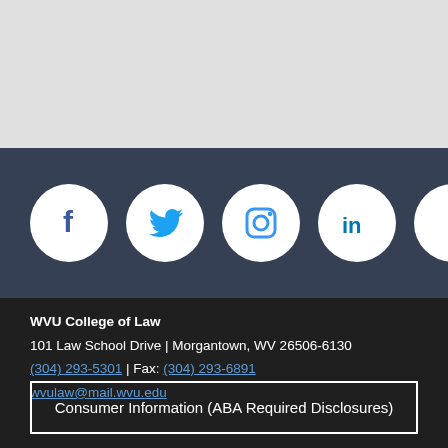[Figure (infographic): Social media icons in white circles: Facebook, Twitter, Instagram, LinkedIn, YouTube on a dark blue-gray background]
WVU College of Law
101 Law School Drive | Morgantown, WV 26506-6130
(304) 293-5301 | Fax: (304) 293-6891
wvulaw@mail.wvu.edu
Consumer Information (ABA Required Disclosures)